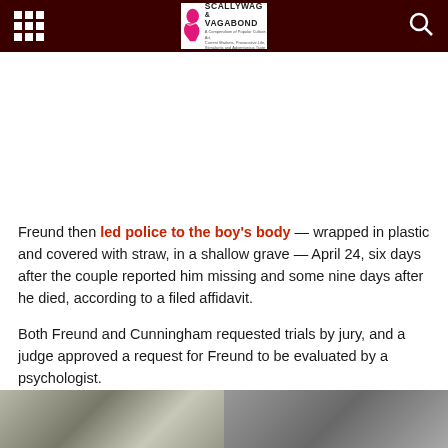Scallywag & Vagabond
Freund then led police to the boy's body — wrapped in plastic and covered with straw, in a shallow grave — April 24, six days after the couple reported him missing and some nine days after he died, according to a filed affidavit.
Both Freund and Cunningham requested trials by jury, and a judge approved a request for Freund to be evaluated by a psychologist.
[Figure (photo): Two black and white photos at the bottom of the page showing people]